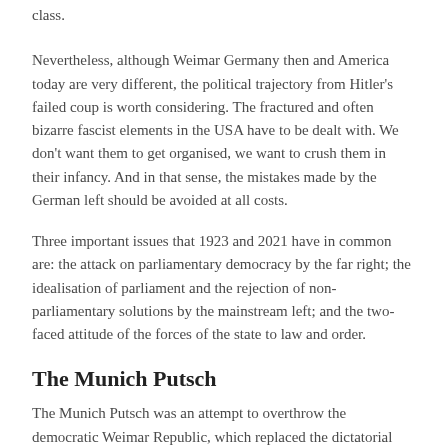class.
Nevertheless, although Weimar Germany then and America today are very different, the political trajectory from Hitler's failed coup is worth considering. The fractured and often bizarre fascist elements in the USA have to be dealt with. We don't want them to get organised, we want to crush them in their infancy. And in that sense, the mistakes made by the German left should be avoided at all costs.
Three important issues that 1923 and 2021 have in common are: the attack on parliamentary democracy by the far right; the idealisation of parliament and the rejection of non-parliamentary solutions by the mainstream left; and the two-faced attitude of the forces of the state to law and order.
The Munich Putsch
The Munich Putsch was an attempt to overthrow the democratic Weimar Republic, which replaced the dictatorial